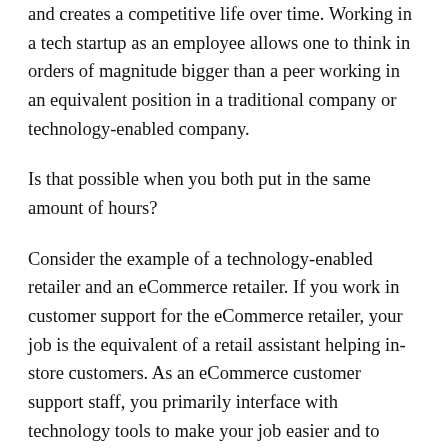and creates a competitive life over time. Working in a tech startup as an employee allows one to think in orders of magnitude bigger than a peer working in an equivalent position in a traditional company or technology-enabled company.
Is that possible when you both put in the same amount of hours?
Consider the example of a technology-enabled retailer and an eCommerce retailer. If you work in customer support for the eCommerce retailer, your job is the equivalent of a retail assistant helping in-store customers. As an eCommerce customer support staff, you primarily interface with technology tools to make your job easier and to